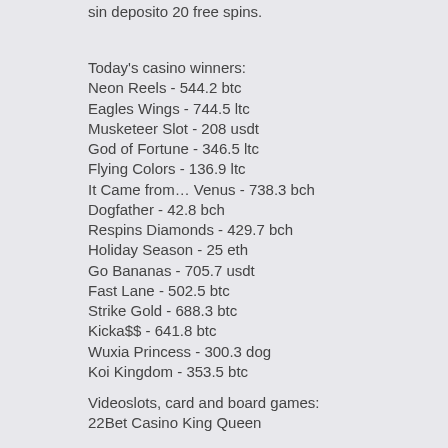sin deposito 20 free spins.
Today's casino winners:
Neon Reels - 544.2 btc
Eagles Wings - 744.5 ltc
Musketeer Slot - 208 usdt
God of Fortune - 346.5 ltc
Flying Colors - 136.9 ltc
It Came from… Venus - 738.3 bch
Dogfather - 42.8 bch
Respins Diamonds - 429.7 bch
Holiday Season - 25 eth
Go Bananas - 705.7 usdt
Fast Lane - 502.5 btc
Strike Gold - 688.3 btc
Kicka$$ - 641.8 btc
Wuxia Princess - 300.3 dog
Koi Kingdom - 353.5 btc
Videoslots, card and board games:
22Bet Casino King Queen